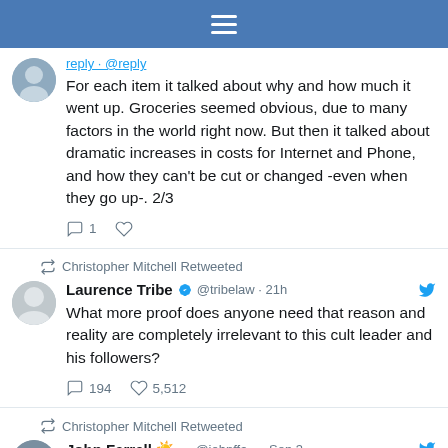[Figure (screenshot): Twitter/social media app top navigation bar with hamburger menu on blue background]
For each item it talked about why and how much it went up. Groceries seemed obvious, due to many factors in the world right now. But then it talked about dramatic increases in costs for Internet and Phone, and how they can't be cut or changed -even when they go up-. 2/3
1 [reply] [heart]
Christopher Mitchell Retweeted
Laurence Tribe @tribelaw · 21h
What more proof does anyone need that reason and reality are completely irrelevant to this cult leader and his followers?
194 [reply] 5,512 [heart]
Christopher Mitchell Retweeted
John Farrell ☀️ ... @johnffa... · Sep 3
Imagine being in charge of choosing the fuel for